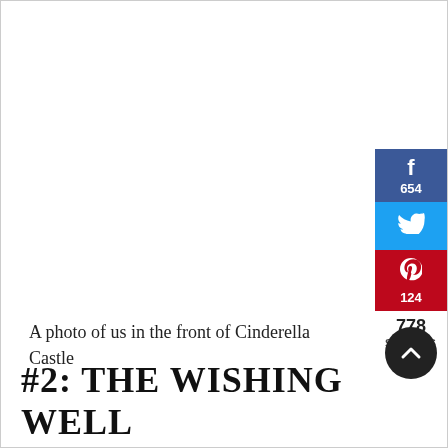[Figure (infographic): Social share sidebar with Facebook (654 shares), Twitter, and Pinterest (124 shares) buttons; total 778 shares displayed below]
A photo of us in the front of Cinderella Castle
#2: THE WISHING WELL